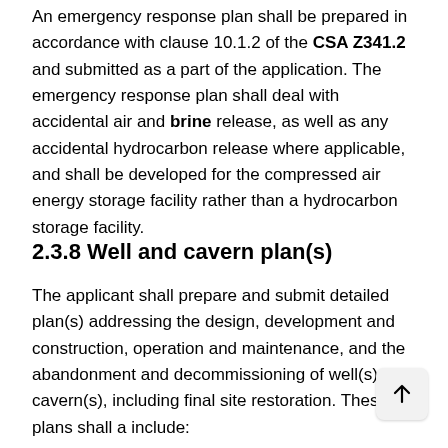An emergency response plan shall be prepared in accordance with clause 10.1.2 of the CSA Z341.2 and submitted as a part of the application. The emergency response plan shall deal with accidental air and brine release, as well as any accidental hydrocarbon release where applicable, and shall be developed for the compressed air energy storage facility rather than a hydrocarbon storage facility.
2.3.8 Well and cavern plan(s)
The applicant shall prepare and submit detailed plan(s) addressing the design, development and construction, operation and maintenance, and the abandonment and decommissioning of well(s) and cavern(s), including final site restoration. These plans shall a include: